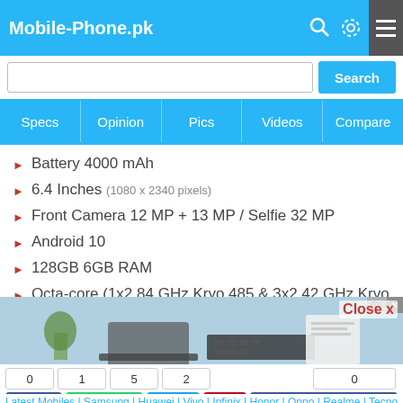Mobile-Phone.pk
Battery 4000 mAh
6.4 Inches (1080 x 2340 pixels)
Front Camera 12 MP + 13 MP / Selfie 32 MP
Android 10
128GB 6GB RAM
Octa-core (1x2.84 GHz Kryo 485 & 3x2.42 GHz Kryo 485 & 4x1.78 GHz Kryo 485)
Dual Sim, 5G GSM / HSDPA / LTE
[Figure (screenshot): Advertisement banner image showing a laptop and plant on a desk]
0  Share  1  WhatsApp  5  Tweet  2  Pin  0  Recommend
Latest Mobiles | Samsung | Huawei | Vivo | Infinix | Honor | Oppo | Realme | Tecno